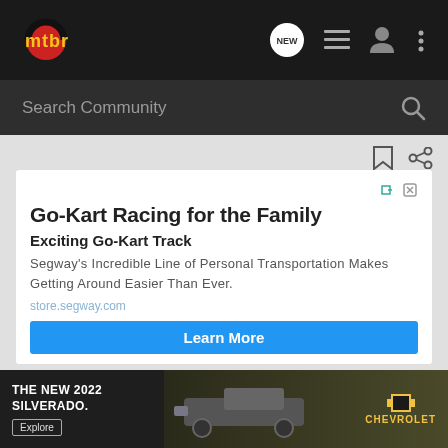mtbr
Search Community
[Figure (screenshot): Go-Kart Racing for the Family advertisement card with title, subtitle 'Exciting Go-Kart Track', body text about Segway personal transportation, store.segway.com URL, and a Learn More button]
[Figure (screenshot): The New 2022 Silverado. Chevrolet banner advertisement with truck image and Explore button]